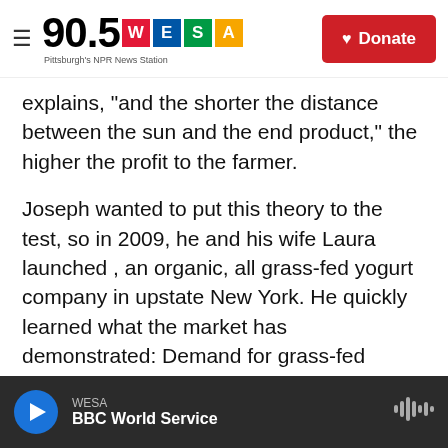90.5 WESA Pittsburgh's NPR News Station | Donate
explains, "and the shorter the distance between the sun and the end product," the higher the profit to the farmer.
Joseph wanted to put this theory to the test, so in 2009, he and his wife Laura launched , an organic, all grass-fed yogurt company in upstate New York. He quickly learned what the market has demonstrated: Demand for grass-fed products currently outstrips supply.
Grass-fed beef is enjoying a 25 to 30 percent annual growth rate, while sales of grass-fed yogurt and kefir have in the last year increased by over 38
WESA | BBC World Service